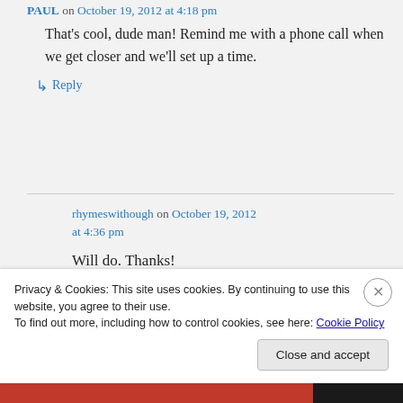PAUL on October 19, 2012 at 4:18 pm
That's cool, dude man! Remind me with a phone call when we get closer and we'll set up a time.
↳ Reply
rhymeswithough on October 19, 2012 at 4:36 pm
Will do. Thanks!
Privacy & Cookies: This site uses cookies. By continuing to use this website, you agree to their use.
To find out more, including how to control cookies, see here: Cookie Policy
Close and accept